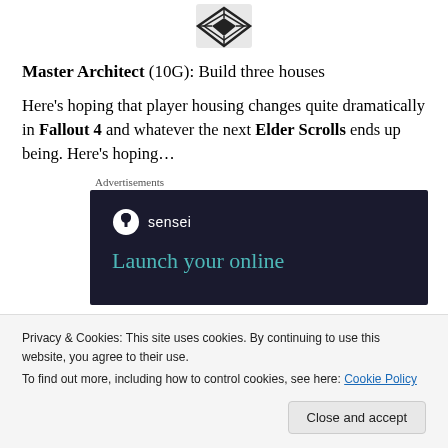[Figure (logo): Diamond-shaped game achievement icon with stylized design in black and white]
Master Architect (10G): Build three houses
Here’s hoping that player housing changes quite dramatically in Fallout 4 and whatever the next Elder Scrolls ends up being. Here’s hoping…
Advertisements
[Figure (screenshot): Dark navy advertisement banner for Sensei with logo and text 'Launch your online']
Privacy & Cookies: This site uses cookies. By continuing to use this website, you agree to their use.
To find out more, including how to control cookies, see here: Cookie Policy